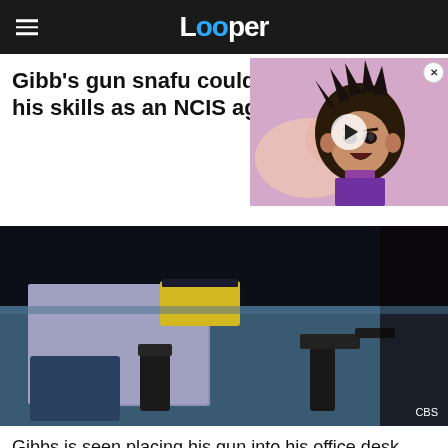Looper
Gibb's gun snafu could his skills as an NCIS ag
[Figure (screenshot): Video overlay thumbnail showing an animated character (Dragon Ball style) with dark spiky hair, angry expression, pink/purple background with a play button]
[Figure (photo): Dark photo showing a gun and items on an office desk, CBS watermark in bottom right]
CBS
Gibbs is seen placing his gun into his office desk